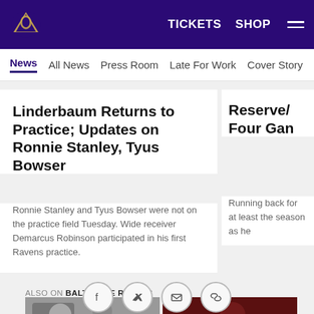Baltimore Ravens website header with logo, TICKETS, SHOP, menu
News | All News | Press Room | Late For Work | Cover Story | Soc...
Linderbaum Returns to Practice; Updates on Ronnie Stanley, Tyus Bowser
Ronnie Stanley and Tyus Bowser were not on the practice field Tuesday. Wide receiver Demarcus Robinson participated in his first Ravens practice.
Reserve/ Four Gan
Running back for at least the season as he
ALSO ON BALTIMORE RAVENS
[Figure (photo): Two thumbnail images of Baltimore Ravens players]
[Figure (infographic): Social share icons: Facebook, Twitter, Email, Link]